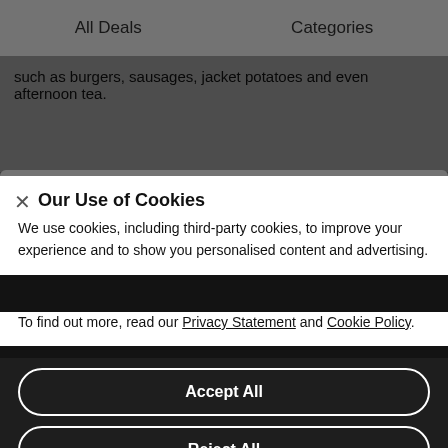All Deals    Categories
such as burgers, sausages, jacket potatoes and even afternoon tea.
Sorry, this deal is no longer available
Other Deals That Might Interest You
Our Use of Cookies
We use cookies, including third-party cookies, to improve your experience and to show you personalised content and advertising.
To find out more, read our Privacy Statement and Cookie Policy.
Accept All
Reject All
My Options
See Similar Deals